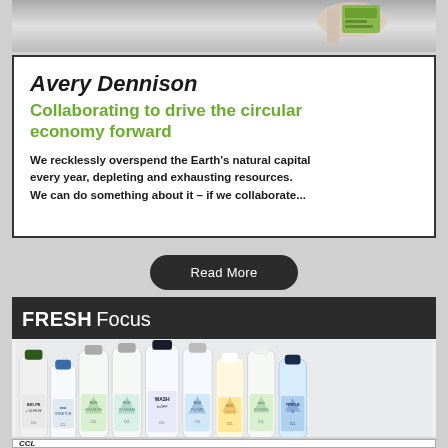[Figure (photo): Top cropped photo showing a hand holding a small green labeled package/card]
Avery Dennison
Collaborating to drive the circular economy forward
We recklessly overspend the Earth's natural capital every year, depleting and exhausting resources. We can do something about it – if we collaborate...
Read More
FRESH Focus
[Figure (photo): Row of water bottles with various eco-themed labels: BIO-PE + SLEEVE, eco STRETCH, eco SOURCE, eco STREAM, WASH bnOFF, eco FLOAT, eco CRYS, eco SOURCE, TRIPLE S — all CCL branded]
CCL